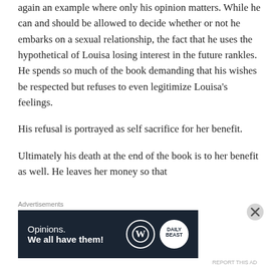again an example where only his opinion matters. While he can and should be allowed to decide whether or not he embarks on a sexual relationship, the fact that he uses the hypothetical of Louisa losing interest in the future rankles. He spends so much of the book demanding that his wishes be respected but refuses to even legitimize Louisa's feelings.
His refusal is portrayed as self sacrifice for her benefit.
Ultimately his death at the end of the book is to her benefit as well. He leaves her money so that
Advertisements
[Figure (other): WordPress/Daily Beast advertisement banner: dark navy background with text 'Opinions. We all have them!' and WordPress and Daily Beast logos.]